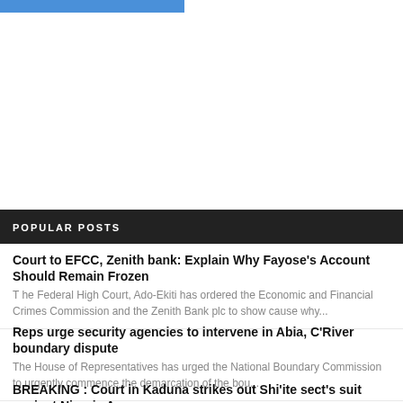[Figure (other): Blue button/bar element at top of page]
POPULAR POSTS
Court to EFCC, Zenith bank: Explain Why Fayose's Account Should Remain Frozen
T he Federal High Court, Ado-Ekiti has ordered the Economic and Financial Crimes Commission and the Zenith Bank plc to show cause why...
Reps urge security agencies to intervene in Abia, C'River boundary dispute
The House of Representatives has urged the National Boundary Commission to urgently commence the demarcation of the bou...
BREAKING : Court in Kaduna strikes out Shi'ite sect's suit against Nigeria Army